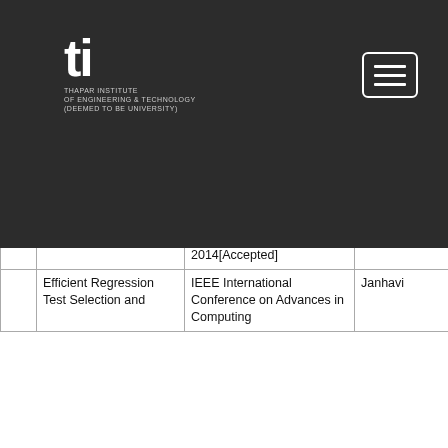| # | Title | Venue | Authors |
| --- | --- | --- | --- |
| 18 | Algorithmic issues and implementations "orientation" | information, communication and applications, 1 August 2014 | K Bhalla |
| 19 | Proposed Approach and Algorithm for estimating the cyclomatic complexity in object-oriented programming | IEEE International conference on computer, Communication and control Technology, Langkawi, Kedah, Malaysia, 2-4 Sep2014[Accepted] | Ankita Garg Vin Bhalla |
| 20 | Novel Approaches for increasing energy efficiency in WSNs | IEEE First international conference on networks and soft computing, IEEE(ICNSC-2014), 2014[Accepted] | Omkar Taneja V Bhalla |
| 21 | Efficient Regression Test Selection and | IEEE International Conference on Advances in Computing | Janhavi |
[Figure (logo): Thapar Institute of Engineering & Technology logo with 'ti' text on dark background]